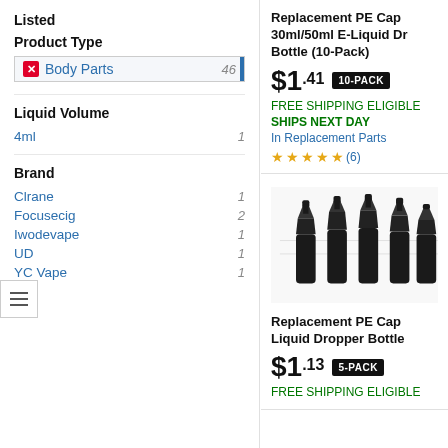Listed
Product Type
Body Parts 46
Liquid Volume
4ml 1
Brand
Clrane 1
Focusecig 2
Iwodevape 1
UD 1
YC Vape 1
Replacement PE Cap 30ml/50ml E-Liquid Dr Bottle (10-Pack)
$1.41 10-PACK
FREE SHIPPING ELIGIBLE
SHIPS NEXT DAY
In Replacement Parts
(6)
[Figure (photo): Black dropper bottle caps arranged in a row, multiple caps visible]
Replacement PE Cap Liquid Dropper Bottle
$1.13 5-PACK
FREE SHIPPING ELIGIBLE